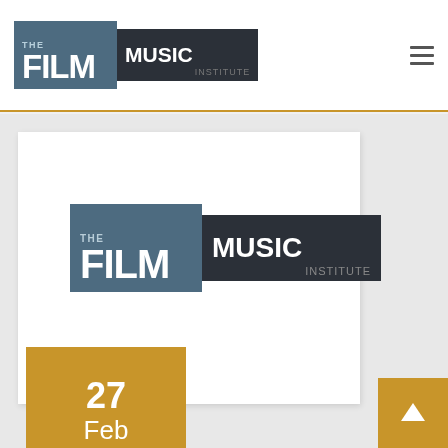THE FILM MUSIC INSTITUTE
[Figure (logo): The Film Music Institute logo — left panel in steel blue with 'THE' and 'FILM' in white bold text, right panel in dark charcoal with 'MUSIC' in white bold and 'INSTITUTE' in grey small caps]
27 Feb 2013